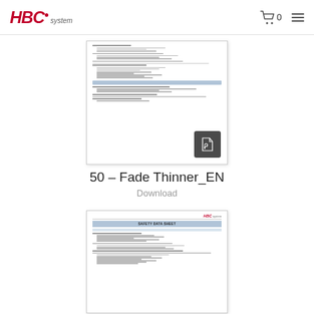HBC system — navigation header with cart and menu
[Figure (screenshot): PDF document thumbnail showing a Safety Data Sheet with sections and a PDF icon overlay]
50 – Fade Thinner_EN
Download
[Figure (screenshot): PDF document thumbnail showing a Safety Data Sheet with HBC system logo and section headers]